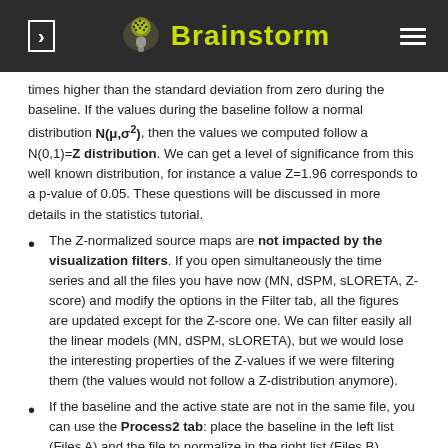Brainstorm
times higher than the standard deviation from zero during the baseline. If the values during the baseline follow a normal distribution N(μ,σ²), then the values we computed follow a N(0,1)=Z distribution. We can get a level of significance from this well known distribution, for instance a value Z=1.96 corresponds to a p-value of 0.05. These questions will be discussed in more details in the statistics tutorial.
The Z-normalized source maps are not impacted by the visualization filters. If you open simultaneously the time series and all the files you have now (MN, dSPM, sLORETA, Z-score) and modify the options in the Filter tab, all the figures are updated except for the Z-score one. We can filter easily all the linear models (MN, dSPM, sLORETA), but we would lose the interesting properties of the Z-values if we were filtering them (the values would not follow a Z-distribution anymore).
If the baseline and the active state are not in the same file, you can use the Process2 tab: place the baseline in the left list (Files A) and the file to normalize in the right list (Files B).
Typical recommendations
Use non-normalized current density maps for:
Computing shared kernels applied to single trials.
Averaging files across MEG runs.